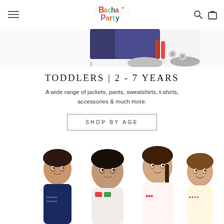Bachaa Party - navigation header with hamburger menu, logo, search and cart icons
[Figure (photo): Partial view of children's clothing/shoes product image at top of page]
TODDLERS | 2 - 7 YEARS
A wide range of jackets, pants, sweatshirts, t-shirts, accessories & much more.
SHOP BY AGE
[Figure (photo): Four smiling children posing together - two boys and two girls wearing colorful casual clothes]